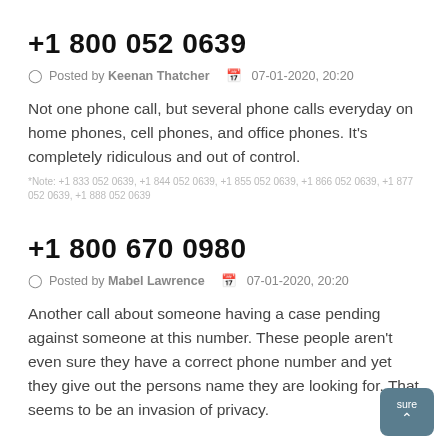+1 800 052 0639
Posted by Keenan Thatcher   07-01-2020, 20:20
Not one phone call, but several phone calls everyday on home phones, cell phones, and office phones. It's completely ridiculous and out of control.
*Note: +1 833 052 0639, +1 844 052 0639, +1 855 052 0639, +1 866 052 0639, +1 877 052 0639, +1 888 052 0639
+1 800 670 0980
Posted by Mabel Lawrence   07-01-2020, 20:20
Another call about someone having a case pending against someone at this number. These people aren't even sure they have a correct phone number and yet they give out the persons name they are looking for. That seems to be an invasion of privacy.